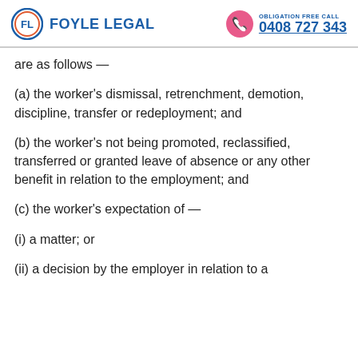FOYLE LEGAL | OBLIGATION FREE CALL 0408 727 343
are as follows —
(a) the worker's dismissal, retrenchment, demotion, discipline, transfer or redeployment; and
(b) the worker's not being promoted, reclassified, transferred or granted leave of absence or any other benefit in relation to the employment; and
(c) the worker's expectation of —
(i) a matter; or
(ii) a decision by the employer in relation to a